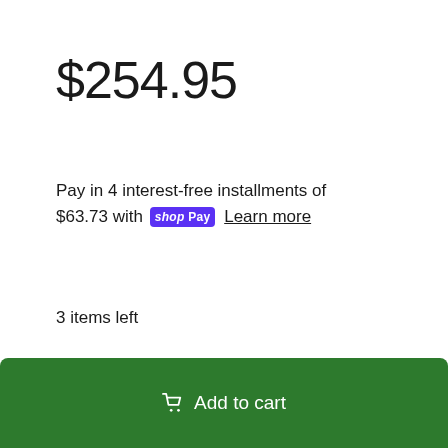$254.95
Pay in 4 interest-free installments of $63.73 with shop Pay Learn more
3 items left
− 1 +
Add to cart